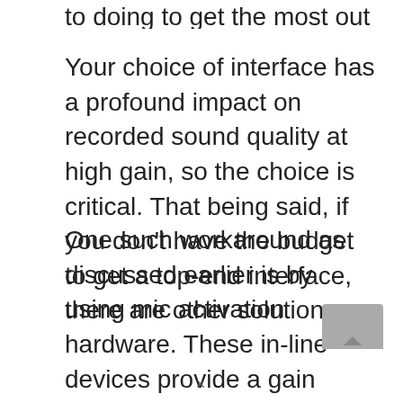to doing to get the most out of your gain.
Your choice of interface has a profound impact on recorded sound quality at high gain, so the choice is critical. That being said, if you don't have the budget to get a top-end interface, there are other solutions.
One such workaround as discussed earlier is by using mic activation hardware. These in-line devices provide a gain boost in much the same way as a preamp, but whether they are in fact classed as such is much debated. Check out our ‘Is a Cloudlifter a Preamp’ article to find out our thoughts.
[Figure (other): Scroll-to-top button, grey rounded rectangle with upward arrow]